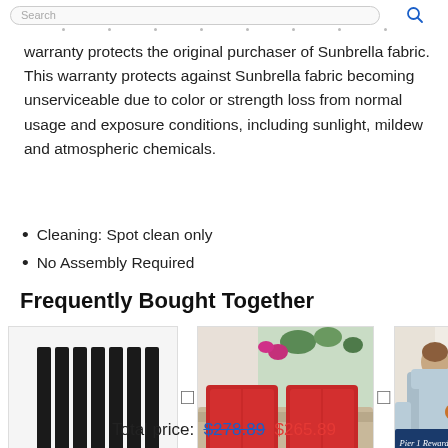Search
warranty protects the original purchaser of Sunbrella fabric. This warranty protects against Sunbrella fabric becoming unserviceable due to color or strength loss from normal usage and exposure conditions, including sunlight, mildew and atmospheric chemicals.
Cleaning: Spot clean only
No Assembly Required
Frequently Bought Together
[Figure (photo): Three product images shown side by side with plus signs between them: a striped outdoor rug/hanging on the left, two red throw pillows on a sofa in the center, and a woman sitting in a light blue chair with a Pier 1 Rewards banner in the bottom left.]
Total price: $278.89  $265.89